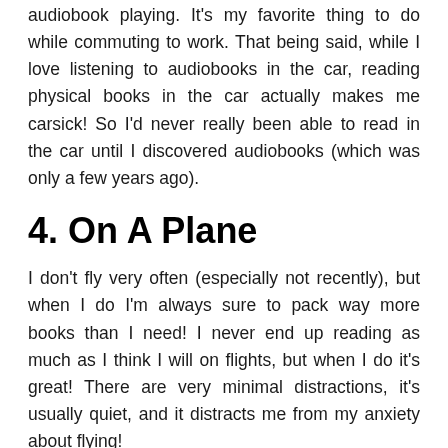audiobook playing. It's my favorite thing to do while commuting to work. That being said, while I love listening to audiobooks in the car, reading physical books in the car actually makes me carsick! So I'd never really been able to read in the car until I discovered audiobooks (which was only a few years ago).
4. On A Plane
I don't fly very often (especially not recently), but when I do I'm always sure to pack way more books than I need! I never end up reading as much as I think I will on flights, but when I do it's great! There are very minimal distractions, it's usually quiet, and it distracts me from my anxiety about flying!
5. In A Snowy Cabin